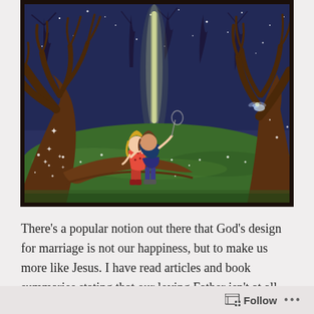[Figure (illustration): A whimsical painting/illustration of two children — a girl in a red dress and a boy in blue shorts — standing on a large tree root in a magical night forest, looking up at a glowing light. Stars and fireflies dot the blue-purple sky and green grass. Dark trees with bare branches frame the scene.]
There's a popular notion out there that God's design for marriage is not our happiness, but to make us more like Jesus. I have read articles and book summaries stating that our loving Father isn't at all concerned if we are happy in marriage.
Follow ...